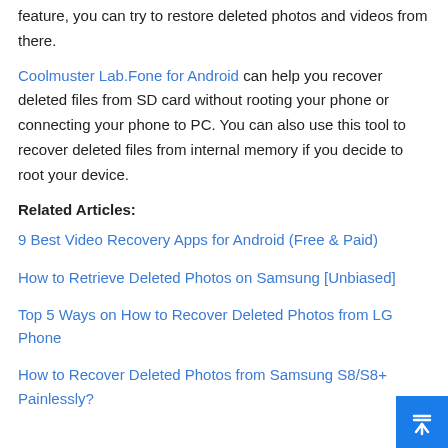feature, you can try to restore deleted photos and videos from there.
Coolmuster Lab.Fone for Android can help you recover deleted files from SD card without rooting your phone or connecting your phone to PC. You can also use this tool to recover deleted files from internal memory if you decide to root your device.
Related Articles:
9 Best Video Recovery Apps for Android (Free & Paid)
How to Retrieve Deleted Photos on Samsung [Unbiased]
Top 5 Ways on How to Recover Deleted Photos from LG Phone
How to Recover Deleted Photos from Samsung S8/S8+ Painlessly?